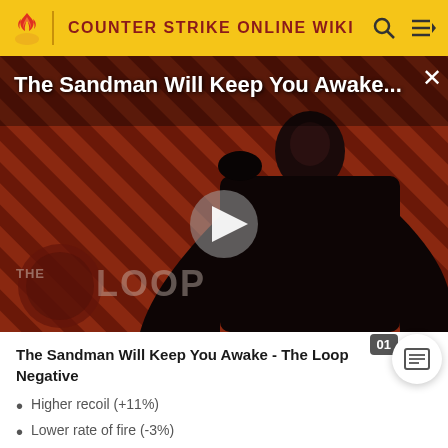COUNTER STRIKE ONLINE WIKI
[Figure (screenshot): Video thumbnail showing a dark-caped figure against a red diagonal-striped background with 'THE LOOP' watermark and a play button overlay. Title reads 'The Sandman Will Keep You Awake...']
The Sandman Will Keep You Awake - The Loop
Negative
Higher recoil (+11%)
Lower rate of fire (-3%)